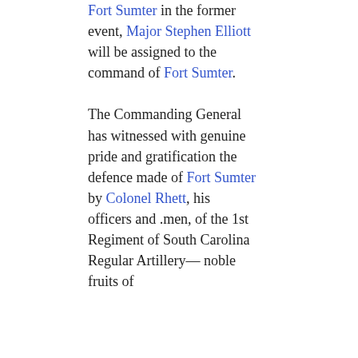Fort Sumter in the former event, Major Stephen Elliott will be assigned to the command of Fort Sumter. The Commanding General has witnessed with genuine pride and gratification the defence made of Fort Sumter by Colonel Rhett, his officers and .men, of the 1st Regiment of South Carolina Regular Artillery— noble fruits of